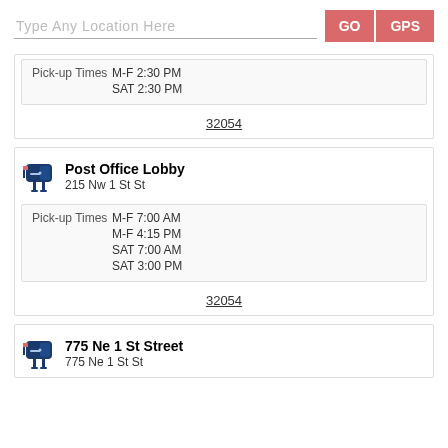Type Any Location Here
GO
GPS
Pick-up Times M-F 2:30 PM SAT 2:30 PM
32054
Post Office Lobby
215 Nw 1 St St
Pick-up Times M-F 7:00 AM M-F 4:15 PM SAT 7:00 AM SAT 3:00 PM
32054
775 Ne 1 St Street
775 Ne 1 St St